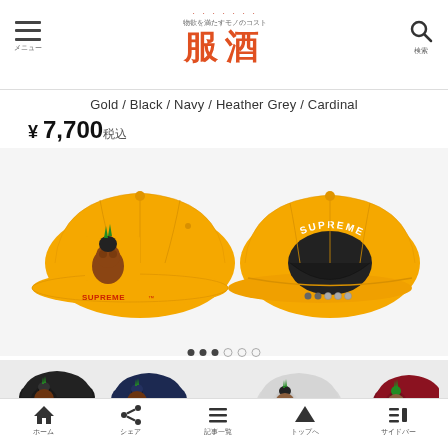服酒 — 物欲を満たすモノのコスト
Gold / Black / Navy / Heather Grey / Cardinal
¥ 7,700 税込
[Figure (photo): Two Supreme snapback caps in gold/yellow color — front view showing character embroidery and Supreme logo, back view showing Supreme arc text and snap closure]
[Figure (photo): Four smaller Supreme snapback caps in black, navy, heather grey, and cardinal colors, each showing character embroidery on front]
ホーム / シェア / 記事一覧 / トップへ / サイドバー